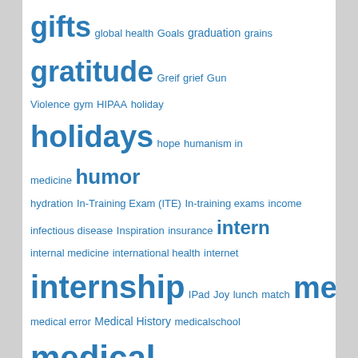[Figure (infographic): Tag cloud / word cloud of medical education and residency-related terms in varying font sizes, all rendered in blue on white background. Larger words appear more frequently. Terms include: gifts, global health, Goals, graduation, grains, gratitude, Greif, grief, Gun Violence, gym, HIPAA, holiday, holidays, hope, humanism in medicine, humor, hydration, In-Training Exam (ITE), In-training exams, income, infectious disease, Inspiration, insurance, intern, internal medicine, international health, internet, internship, IPad, Joy, lunch, match, meals, medical error, Medical History, medicalschool, medical student, meditation, meetings, memorization, mental health, Mentors, Mindfulness, MOC, money, motivation, music, nacks, nap, National Resident Matching Program, nature, NBME, networking, notes, NRMP, NRMP match, nutrition, occupational hazards, Occupational risk, on call, operating room, Patient care, Patients, Pay Equity]